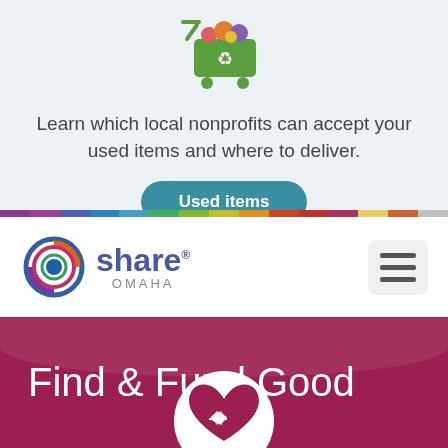[Figure (illustration): Green shopping cart icon with colorful items on top and recycling symbol on the cart body]
Learn which local nonprofits can accept your used items and where to deliver.
[Figure (other): Teal rounded button with white bold text 'Used items']
[Figure (other): Horizontal rainbow/multi-color bar divider]
[Figure (logo): Share Omaha logo with circular swirl graphic and text 'share OMAHA']
[Figure (other): Hamburger menu button (three horizontal lines) in a rounded rectangle]
Find & Fund Good
[Figure (illustration): White circle with dark pink/burgundy heart and two hands shaking inside the heart]